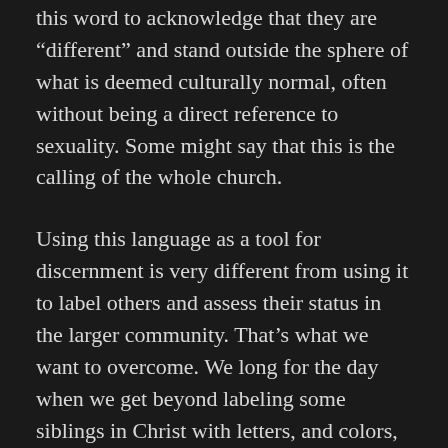this word to acknowledge that they are “different” and stand outside the sphere of what is deemed culturally normal, often without being a direct reference to sexuality. Some might say that this is the calling of the whole church.
Using this language as a tool for discernment is very different from using it to label others and assess their status in the larger community. That’s what we want to overcome. We long for the day when we get beyond labeling some siblings in Christ with letters, and colors, and references to gender, in ways that hold some to a different standard, outside the inner circle of those who are privileged and who do NOT feel the pressure to qualify and justify themselves